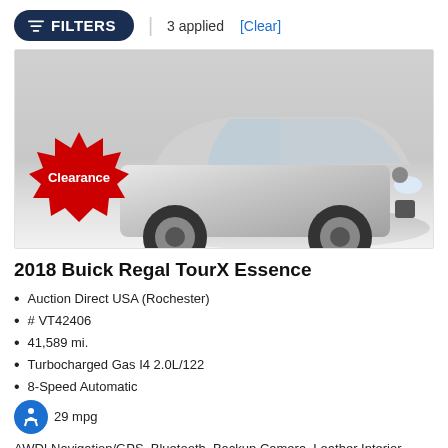FILTERS | 3 applied [Clear]
[Figure (photo): Silver 2018 Buick Regal TourX Essence station wagon on a display platform with a red starburst Clearance badge in the lower left corner]
2018 Buick Regal TourX Essence
Auction Direct USA (Rochester)
# VT42406
41,589 mi.
Turbocharged Gas I4 2.0L/122
8-Speed Automatic
29 mpg
AWD! Navigation/GPS, Bluetooth, Backup Camera, Leather Interior,